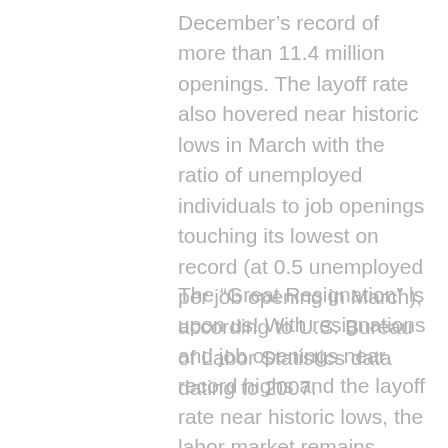December's record of more than 11.4 million openings. The layoff rate also hovered near historic lows in March with the ratio of unemployed individuals to job openings touching its lowest on record (at 0.5 unemployed per job opening in March), according to U.S. Bureau of Labor Statistics data dating to 2007.
The “Great Resignation” is upon us! With resignations and job openings near record highs and the layoff rate near historic lows, the labor market remains favorable to workers. It’s not a surprise that our clients tell us their biggest challenge is hiring and retaining talented employees. This landscape has